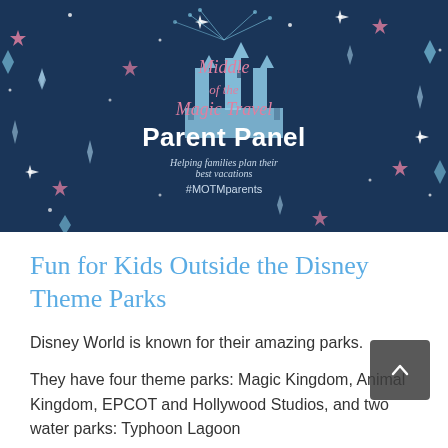[Figure (illustration): Middle of the Magic Travel Parent Panel banner. Dark navy blue background with colorful stars (pink, blue, white, light blue diamond-shaped sparkles). Center features a light blue castle silhouette with fireworks. Text reads 'Middle of the Magic Travel' in pink italic script, 'Parent Panel' in bold white, 'Helping families plan their best vacations' in small italic, and '#MOTMparents'.]
Fun for Kids Outside the Disney Theme Parks
Disney World is known for their amazing parks.
They have four theme parks: Magic Kingdom, Animal Kingdom, EPCOT and Hollywood Studios, and two water parks: Typhoon Lagoon